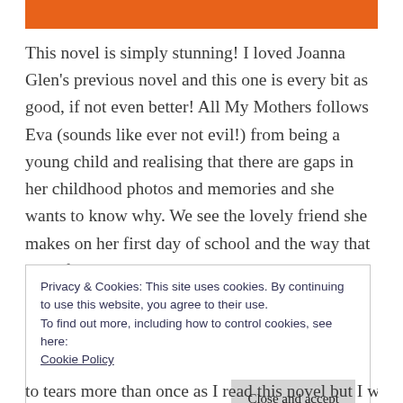[Figure (other): Orange decorative bar at top of page]
This novel is simply stunning! I loved Joanna Glen's previous novel and this one is every bit as good, if not even better! All My Mothers follows Eva (sounds like ever not evil!) from being a young child and realising that there are gaps in her childhood photos and memories and she wants to know why. We see the lovely friend she makes on her first day of school and the way that girl's family take Eva under their wing. I adored the book with the rainbow mothers and how
Privacy & Cookies: This site uses cookies. By continuing to use this website, you agree to their use.
To find out more, including how to control cookies, see here:
Cookie Policy
Close and accept
to tears more than once as I read this novel but I was